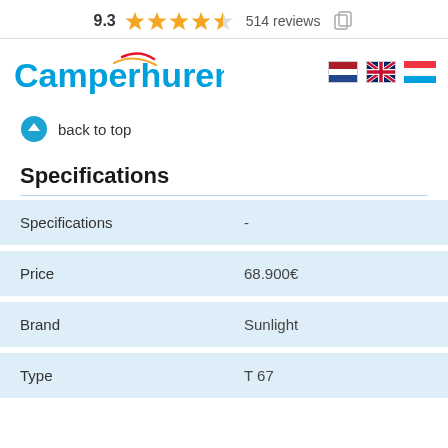9.3 ★★★★½ 514 reviews
[Figure (logo): Camperhuren.nl logo with Dutch, UK flags and hamburger menu icon]
back to top
Specifications
|  |  |
| --- | --- |
| Specifications | - |
| Price | 68.900€ |
| Brand | Sunlight |
| Type | T 67 |